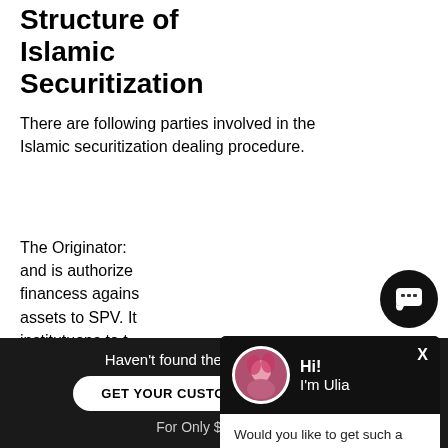Structure of Islamic Securitization
There are following parties involved in the Islamic securitization dealing procedure.
The Originator: and is authorize financess agains assets to SPV. It institutuons to t as under author
[Figure (screenshot): Chat popup with avatar of a woman named Ulia, asking 'Would you like to get such a paper? How about receiving a customized one?' with a 'Check it out' link]
Haven't found the Essay You Want?
GET YOUR CUSTOM ESSAY SAMPLE
For Only $13.90/page